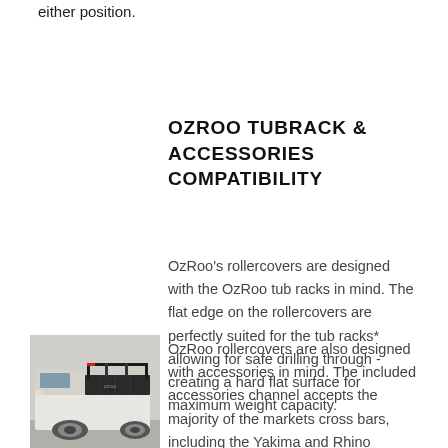either position.
OZROO TUBRACK & ACCESSORIES COMPATIBILITY
OzRoo's rollercovers are designed with the OzRoo tub racks in mind. The flat edge on the rollercovers are perfectly suited for the tub racks* allowing for safe drilling through - creating a hard flat surface for maximum weight capacity.
[Figure (photo): Photo of a pickup truck bed with OzRoo rollcover and tub rack system installed, viewed from rear quarter angle.]
OzRoo rollercovers are also designed with accessories in mind. The included accessories channel accepts the majority of the markets cross bars, including the Yakima and Rhino